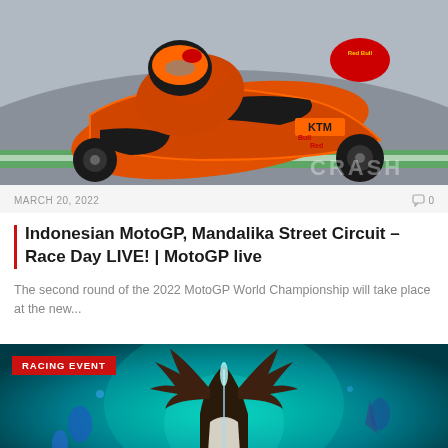[Figure (photo): MotoGP KTM rider in orange and black racing suit and helmet leaning into a corner on track, Red Bull branding visible, CRASH watermark in bottom right]
MARCH 20, 2022
0
Indonesian MotoGP, Mandalika Street Circuit – Race Day LIVE! | MotoGP live
The second round of the 2022 MotoGP World Championship will take place at the new...
[Figure (photo): Fantasy/gaming artwork showing a dark horned creature or character with large antlers against a teal glowing background, with a RACING EVENT badge overlaid in the top left corner]